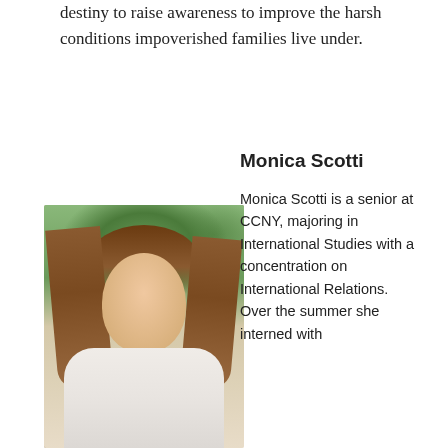destiny to raise awareness to improve the harsh conditions impoverished families live under.
Monica Scotti
[Figure (photo): Portrait photo of Monica Scotti, a young woman with long brown hair wearing a white shirt, smiling, with green foliage in the background.]
Monica Scotti is a senior at CCNY, majoring in International Studies with a concentration on International Relations. Over the summer she interned with